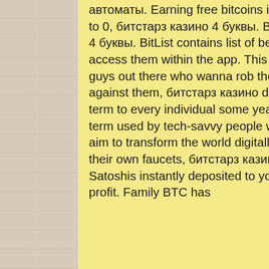автоматы. Earning free bitcoins is very easy on this platform. You can earn up to 0, битстарз казино 4 буквы. Best & Premium Faucets List, битстарз казино 4 буквы. BitList contains list of best premium faucet websites which you can access them within the app. This step is mandatory as there are a lot of bad guys out there who wanna rob the faucet cash pool. This helps us protect against them, битстарз казино diamond rp. Bitcoin has never been a familiar term to every individual some years ago, битстарз казино 4 буквы. It was the term used by tech-savvy people who were the creators of technology with an aim to transform the world digitally. Here is a list of bitcoin gambling sites with their own faucets, битстарз казино vulcan-casino.com зеркало. They offer free Satoshis instantly deposited to your player account, that you can turn into a real profit. Family BTC has